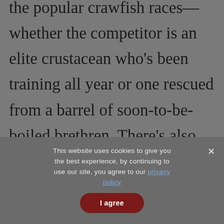the popular crawfish races—whether the competitor is an elite crustacean who's been training all year or one rescued from a barrel of soon-to-be-boiled brethren. There's also the bourré demonstration presented as part of the festival's heritage tent. Bourré is a card-game that originated in the area, and
This website uses cookies to give you the best experience, by continuing to use our site, you agree to our privacy policy
I agree